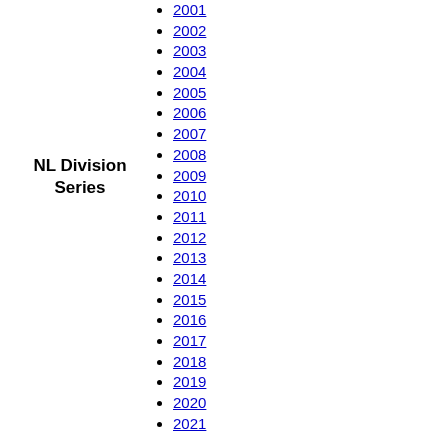NL Division Series
2001
2002
2003
2004
2005
2006
2007
2008
2009
2010
2011
2012
2013
2014
2015
2016
2017
2018
2019
2020
2021
2012
2013
2014